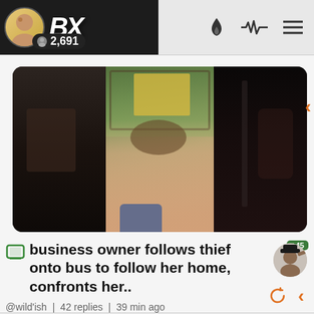BX | 2,691
[Figure (screenshot): Video thumbnail showing three panels: dark left panel, center panel showing a woman's face on a bus with a yellow-green background visible through windows, and dark right panel showing another person on the bus.]
business owner follows thief onto bus to follow her home, confronts her..
@wild'ish | 42 replies | 39 min ago
7 | by Lord Kushington | 11 hr